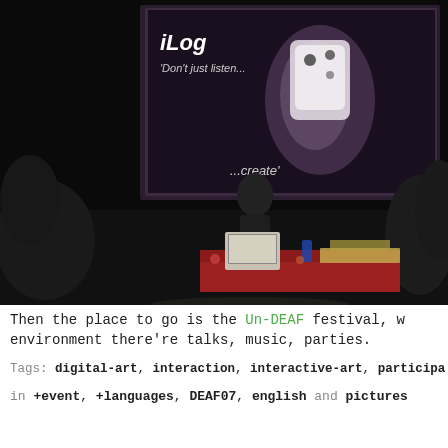[Figure (photo): A dark concert/presentation venue with a large projection screen showing 'iLog - Don't just listen... ...create'' with an image of a white device. A presenter stands at a table with laptops and equipment on stage.]
Then the place to go is the Un-DEAF festival, w... environment there're talks, music, parties.
Tags: digital-art, interaction, interactive-art, participa...
in +event, +languages, DEAF07, english and pictures